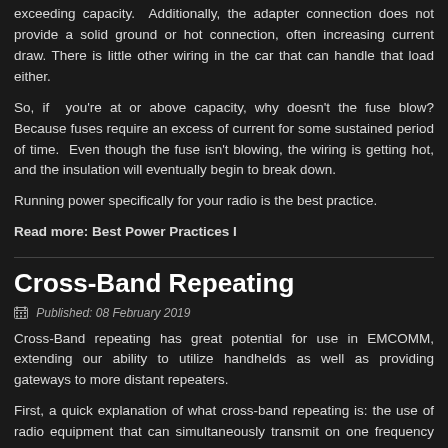exceeding capacity. Additionally, the adapter connection does not provide a solid ground or hot connection, often increasing current draw. There is little other wiring in the car that can handle that load either.
So, if you're at or above capacity, why doesn't the fuse blow? Because fuses require an excess of current for some sustained period of time. Even though the fuse isn't blowing, the wiring is getting hot, and the insulation will eventually begin to break down.
Running power specifically for your radio is the best practice.
Read more: Best Power Practices I
Cross-Band Repeating
Published: 08 February 2019
Cross-Band repeating has great potential for use in EMCOMM, extending our ability to utilize handhelds as well as providing gateways to more distant repeaters.
First, a quick explanation of what cross-band repeating is: the use of radio equipment that can simultaneously transmit on one frequency what is received on the other, much as a normal repeater. The twist is that the two frequencies will be on different bands, usually 2M and